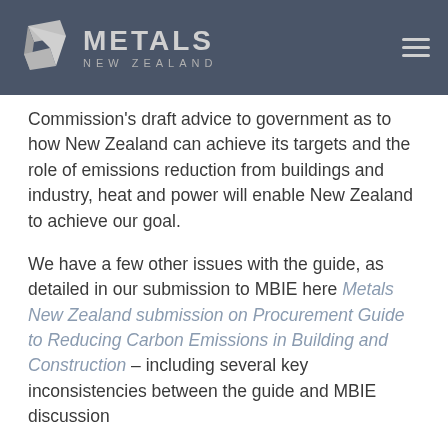[Figure (logo): Metals New Zealand logo with stylized metal sheet icon and text 'METALS NEW ZEALAND' on dark grey header bar with hamburger menu icon]
Commission's draft advice to government as to how New Zealand can achieve its targets and the role of emissions reduction from buildings and industry, heat and power will enable New Zealand to achieve our goal.
We have a few other issues with the guide, as detailed in our submission to MBIE here Metals New Zealand submission on Procurement Guide to Reducing Carbon Emissions in Building and Construction – including several key inconsistencies between the guide and MBIE discussion